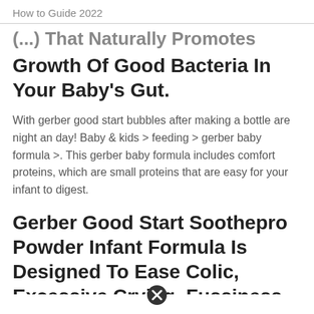How to Guide 2022
(...) That Naturally Promotes Growth Of Good Bacteria In Your Baby's Gut.
With gerber good start bubbles after making a bottle are night an day! Baby & kids > feeding > gerber baby formula >. This gerber baby formula includes comfort proteins, which are small proteins that are easy for your infant to digest.
Gerber Good Start Soothepro Powder Infant Formula Is Designed To Ease Colic, Excessive Crying, Fussiness And